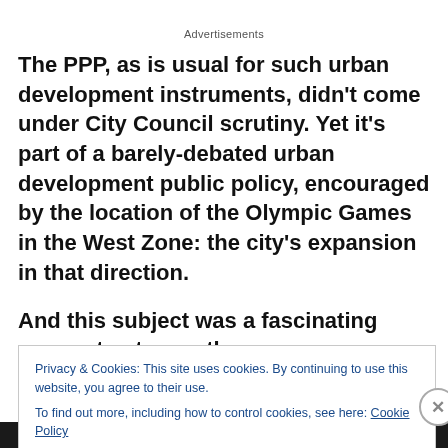Advertisements
The PPP, as is usual for such urban development instruments, didn't come under City Council scrutiny. Yet it's part of a barely-debated urban development public policy, encouraged by the location of the Olympic Games in the West Zone: the city's expansion in that direction.
And this subject was a fascinating reason to stay on the
Privacy & Cookies: This site uses cookies. By continuing to use this website, you agree to their use.
To find out more, including how to control cookies, see here: Cookie Policy